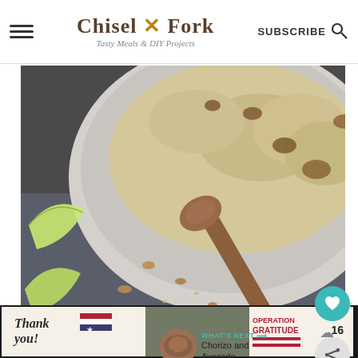Chisel X Fork — Tasty Meals & DIY Projects | SUBSCRIBE
[Figure (photo): Overhead close-up photo of a bowl of oatmeal with walnuts and a wooden spoon, green apple slices on the side, scattered nuts on dark surface]
WHAT'S NEXT → Chorizo and Avocado...
[Figure (photo): Advertisement banner with blue background showing bold text]
[Figure (photo): Bottom advertisement: Operation Gratitude — Thank you! with military imagery]